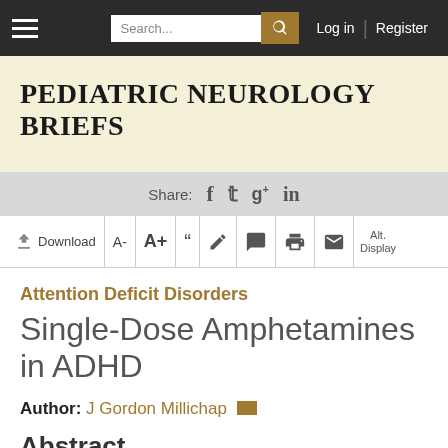PEDIATRIC NEUROLOGY BRIEFS
Attention Deficit Disorders
Single-Dose Amphetamines in ADHD
Author: J Gordon Millichap
Abstract